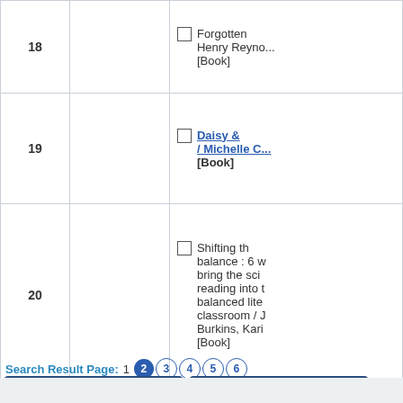| # | Image | Title |
| --- | --- | --- |
| 18 |  | ☐ Forgotten Henry Reyno... [Book] |
| 19 |  | ☐ Daisy & ... / Michelle C... [Book] |
| 20 |  | ☐ Shifting th balance : 6 w bring the sci reading into t balanced lite classroom / J Burkins, Kari [Book] |
Search Result Page:  1  2  3  4  5  6
Display All
Basket All